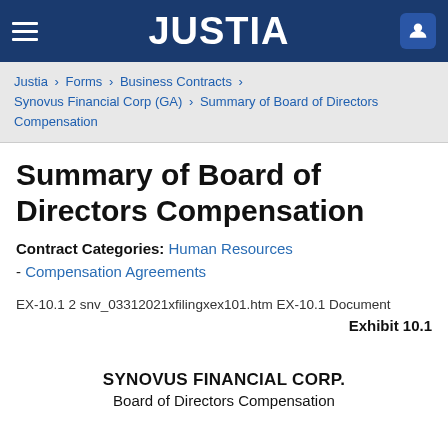JUSTIA
Justia › Forms › Business Contracts › Synovus Financial Corp (GA) › Summary of Board of Directors Compensation
Summary of Board of Directors Compensation
Contract Categories: Human Resources - Compensation Agreements
EX-10.1 2 snv_03312021xfilingxex101.htm EX-10.1 Document
Exhibit 10.1
SYNOVUS FINANCIAL CORP.
Board of Directors Compensation